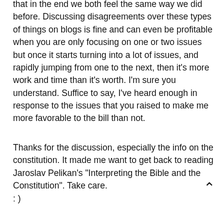that in the end we both feel the same way we did before. Discussing disagreements over these types of things on blogs is fine and can even be profitable when you are only focusing on one or two issues but once it starts turning into a lot of issues, and rapidly jumping from one to the next, then it's more work and time than it's worth. I'm sure you understand. Suffice to say, I've heard enough in response to the issues that you raised to make me more favorable to the bill than not.
Thanks for the discussion, especially the info on the constitution. It made me want to get back to reading Jaroslav Pelikan's "Interpreting the Bible and the Constitution". Take care.
: )